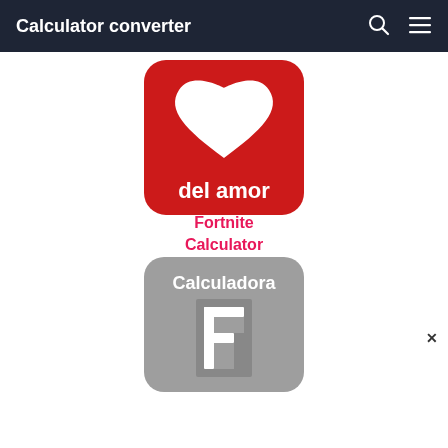Calculator converter
[Figure (logo): Red rounded square logo with a white heart shape cutout and text 'del amor' in white at the bottom]
Fortnite Calculator
[Figure (logo): Gray rounded rectangle logo with text 'Calculadora' at top and a large white stylized letter 'F' with a Fortnite-style icon below]